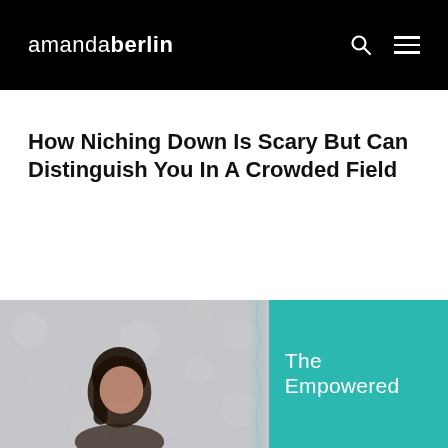amandaberlin
How Niching Down Is Scary But Can Distinguish You In A Crowded Field
[Figure (photo): A woman with dark hair against a light bokeh background, beside a teal panel with text 'The Empowered']